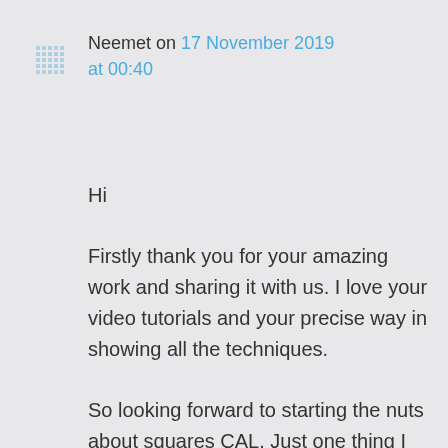[Figure (illustration): Small square avatar icon with a dotted/pixelated grid pattern in light blue/grey]
Neemet on 17 November 2019 at 00:40
Hi

Firstly thank you for your amazing work and sharing it with us. I love your video tutorials and your precise way in showing all the techniques.

So looking forward to starting the nuts about squares CAL. Just one thing I can't seem to see , or maybe I'm not looking hard